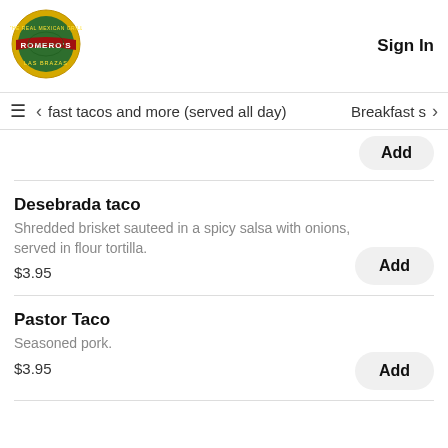[Figure (logo): Romero's Las Brazas restaurant logo - circular green and yellow badge with red banner]
Sign In
fast tacos and more (served all day)    Breakfast s
Add
Desebrada taco
Shredded brisket sauteed in a spicy salsa with onions, served in flour tortilla.
$3.95
Add
Pastor Taco
Seasoned pork.
$3.95
Add